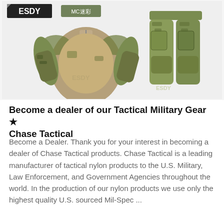[Figure (photo): Product photo showing ESDY brand tactical military combat shirt and pants in multicam camouflage pattern. The shirt is a long-sleeve zip-collar combat shirt and the pants are cargo-style tactical pants. Both items displayed on a light grey background with ESDY logo and MC迷彩 (MC Camouflage) label visible.]
Become a dealer of our Tactical Military Gear ★ Chase Tactical
Become a Dealer. Thank you for your interest in becoming a dealer of Chase Tactical products. Chase Tactical is a leading manufacturer of tactical nylon products to the U.S. Military, Law Enforcement, and Government Agencies throughout the world. In the production of our nylon products we use only the highest quality U.S. sourced Mil-Spec ...